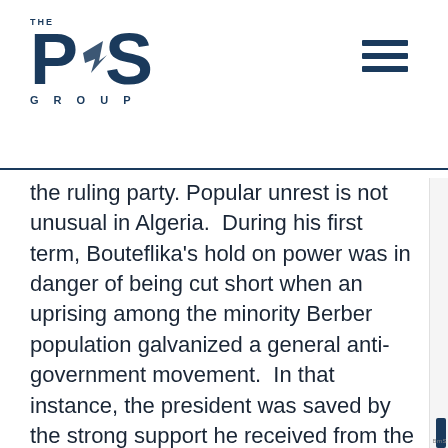THE PRS GROUP
the ruling party. Popular unrest is not unusual in Algeria.  During his first term, Bouteflika's hold on power was in danger of being cut short when an uprising among the minority Berber population galvanized a general anti-government movement.  In that instance, the president was saved by the strong support he received from the military.  Should he confront a similar crisis in 2011, there is little reason to believe that the generals will come to his rescue a second time.